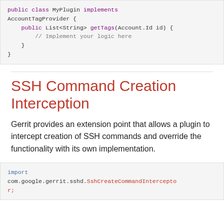public class MyPlugin implements AccountTagProvider {
    public List<String> getTags(Account.Id id) {
        // Implement your logic here
    }
}
SSH Command Creation Interception
Gerrit provides an extension point that allows a plugin to intercept creation of SSH commands and override the functionality with its own implementation.
import com.google.gerrit.sshd.SshCreateCommandIntercepto r;